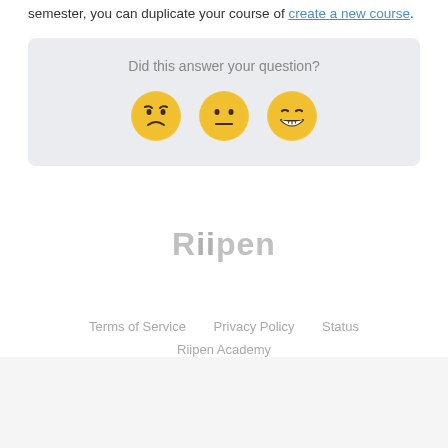semester, you can duplicate your course or create a new course.
Did this answer your question?
[Figure (illustration): Three emoji faces: disappointed (sad), neutral, and happy/grinning]
[Figure (logo): Riipen logo in gray text]
Terms of Service   Privacy Policy   Status   Riipen Academy